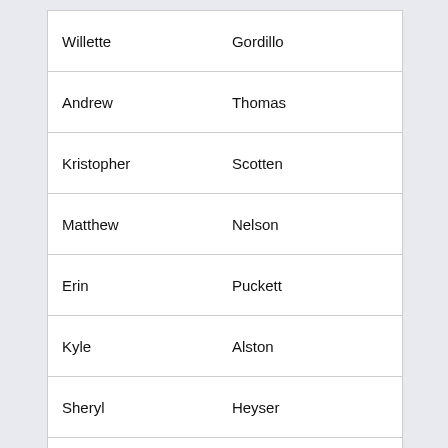| First Name | Last Name |
| --- | --- |
| Willette | Gordillo |
| Andrew | Thomas |
| Kristopher | Scotten |
| Matthew | Nelson |
| Erin | Puckett |
| Kyle | Alston |
| Sheryl | Heyser |
| Megan | Shults |
| Sarah | Kohl |